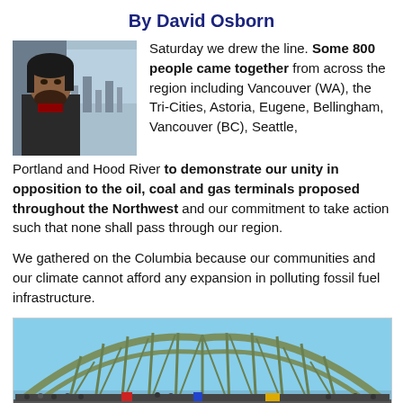By David Osborn
[Figure (photo): Author photo: man with curly dark hair and beard, sitting near a window with a city view behind him.]
Saturday we drew the line. Some 800 people came together from across the region including Vancouver (WA), the Tri-Cities, Astoria, Eugene, Bellingham, Vancouver (BC), Seattle, Portland and Hood River to demonstrate our unity in opposition to the oil, coal and gas terminals proposed throughout the Northwest and our commitment to take action such that none shall pass through our region.
We gathered on the Columbia because our communities and our climate cannot afford any expansion in polluting fossil fuel infrastructure.
[Figure (photo): Photograph of a large green steel arch bridge (the Interstate Bridge or similar Columbia River bridge) crowded with hundreds of protesters standing along both sides of the roadway. Sky is bright blue. A red umbrella is visible among the crowd.]